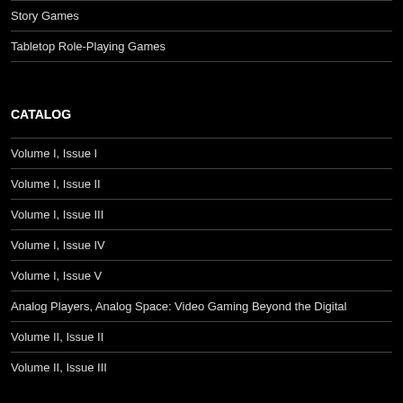Story Games
Tabletop Role-Playing Games
CATALOG
Volume I, Issue I
Volume I, Issue II
Volume I, Issue III
Volume I, Issue IV
Volume I, Issue V
Analog Players, Analog Space: Video Gaming Beyond the Digital
Volume II, Issue II
Volume II, Issue III